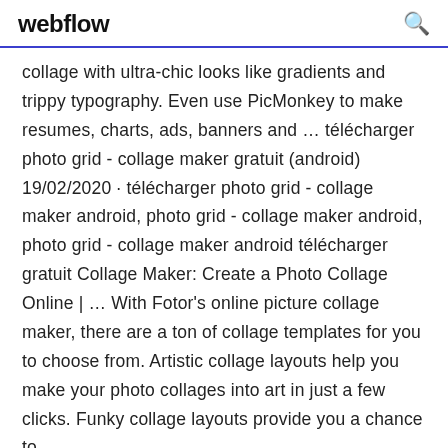webflow
collage with ultra-chic looks like gradients and trippy typography. Even use PicMonkey to make resumes, charts, ads, banners and … télécharger photo grid - collage maker gratuit (android) 19/02/2020 · télécharger photo grid - collage maker android, photo grid - collage maker android, photo grid - collage maker android télécharger gratuit Collage Maker: Create a Photo Collage Online | … With Fotor's online picture collage maker, there are a ton of collage templates for you to choose from. Artistic collage layouts help you make your photo collages into art in just a few clicks. Funky collage layouts provide you a chance to